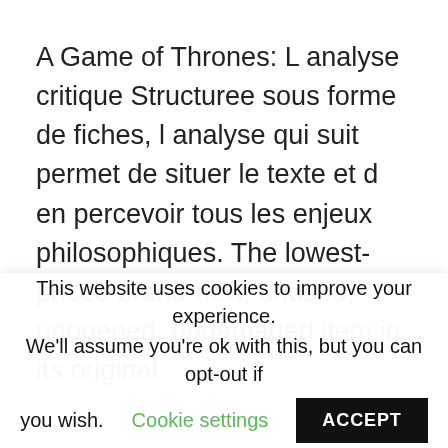A Game of Thrones: L analyse critique Structuree sous forme de fiches, l analyse qui suit permet de situer le texte et d en percevoir tous les enjeux philosophiques. The lowest-priced brand-new, unused, unopened, undamaged item in its original
This website uses cookies to improve your experience. We'll assume you're ok with this, but you can opt-out if you wish. Cookie settings ACCEPT